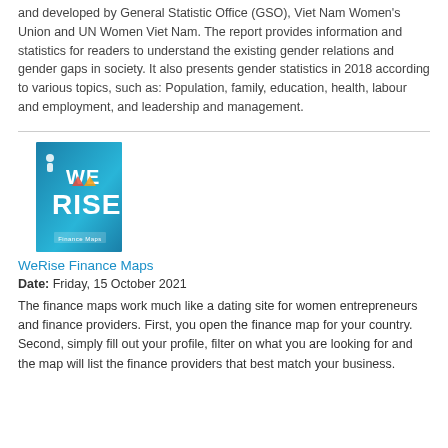and developed by General Statistic Office (GSO), Viet Nam Women's Union and UN Women Viet Nam. The report provides information and statistics for readers to understand the existing gender relations and gender gaps in society. It also presents gender statistics in 2018 according to various topics, such as: Population, family, education, health, labour and employment, and leadership and management.
[Figure (illustration): Book cover of WeRise Finance Maps. Blue background with large white bold text reading WE RISE and Finance Maps subtitle below.]
WeRise Finance Maps
Date: Friday, 15 October 2021
The finance maps work much like a dating site for women entrepreneurs and finance providers. First, you open the finance map for your country. Second, simply fill out your profile, filter on what you are looking for and the map will list the finance providers that best match your business.